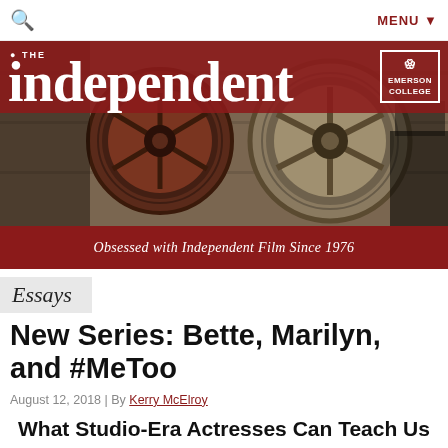🔍   MENU ▼
[Figure (illustration): The Independent magazine banner with film reels in background, red header bar with 'THE independent' in large white serif font, Emerson College logo top right, subtitle 'Obsessed with Independent Film Since 1976' on red bar at bottom]
Essays
New Series: Bette, Marilyn, and #MeToo
August 12, 2018 | By Kerry McElroy
What Studio-Era Actresses Can Teach Us about